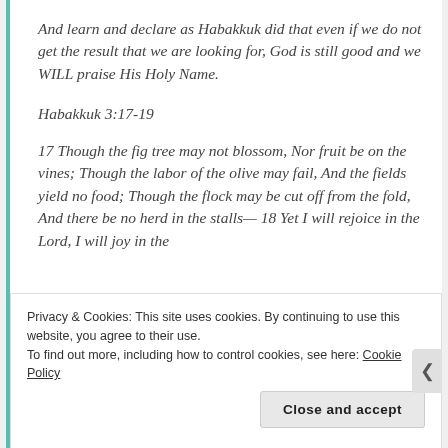And learn and declare as Habakkuk did that even if we do not get the result that we are looking for, God is still good and we WILL praise His Holy Name.
Habakkuk 3:17-19
17 Though the fig tree may not blossom, Nor fruit be on the vines; Though the labor of the olive may fail, And the fields yield no food; Though the flock may be cut off from the fold, And there be no herd in the stalls— 18 Yet I will rejoice in the Lord, I will joy in the
Privacy & Cookies: This site uses cookies. By continuing to use this website, you agree to their use.
To find out more, including how to control cookies, see here: Cookie Policy
Close and accept